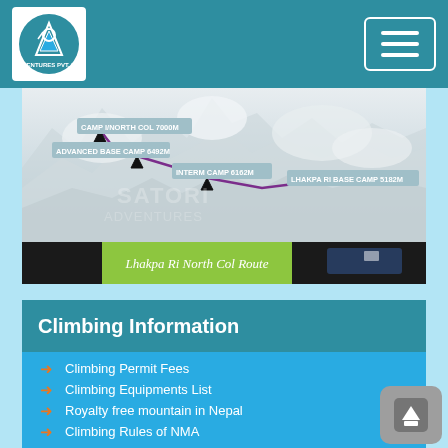Satori Adventures - Navigation header with logo and hamburger menu
[Figure (map): Aerial/satellite map of Lhakpa Ri North Col Route showing camps: LHAKPA RI BASE CAMP 5182M, INTERM CAMP 6162M, ADVANCED BASE CAMP 6492M, CAMP I/NORTH COL 7000M, with a purple route line connecting them. Satori Adventures watermark visible.]
Lhakpa Ri North Col Route
Climbing Information
Climbing Permit Fees
Climbing Equipments List
Royalty free mountain in Nepal
Climbing Rules of NMA
Climbing guide in Nepal